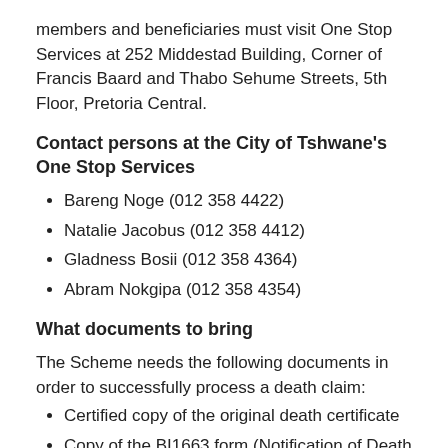members and beneficiaries must visit One Stop Services at 252 Middestad Building, Corner of Francis Baard and Thabo Sehume Streets, 5th Floor, Pretoria Central.
Contact persons at the City of Tshwane's One Stop Services
Bareng Noge (012 358 4422)
Natalie Jacobus (012 358 4412)
Gladness Bosii (012 358 4364)
Abram Nokgipa (012 358 4354)
What documents to bring
The Scheme needs the following documents in order to successfully process a death claim:
Certified copy of the original death certificate
Copy of the BI1663 form (Notification of Death / Stillbirth)
Police Report in cases where the cause of death is